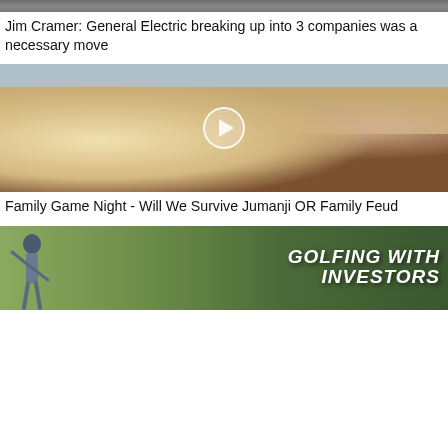[Figure (photo): Top thumbnail image - dark/grayscale photo, partially visible at top]
Jim Cramer: General Electric breaking up into 3 companies was a necessary move
[Figure (photo): Family game night photo - girl waving, family playing board games including Jumanji and Family Feud, with play button overlay]
Family Game Night - Will We Survive Jumanji OR Family Feud
[Figure (photo): Golf thumbnail with text GOLFING WITH INVESTORS and golfer silhouette on green background]